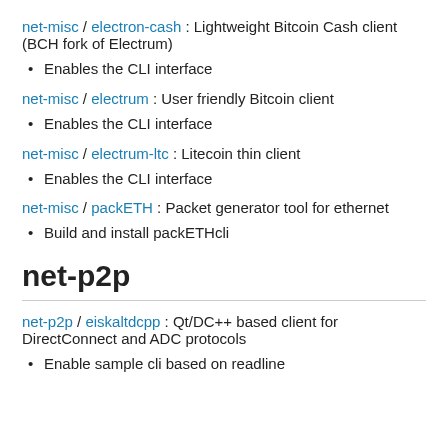net-misc / electron-cash : Lightweight Bitcoin Cash client (BCH fork of Electrum)
Enables the CLI interface
net-misc / electrum : User friendly Bitcoin client
Enables the CLI interface
net-misc / electrum-ltc : Litecoin thin client
Enables the CLI interface
net-misc / packETH : Packet generator tool for ethernet
Build and install packETHcli
net-p2p
net-p2p / eiskaltdcpp : Qt/DC++ based client for DirectConnect and ADC protocols
Enable sample cli based on readline